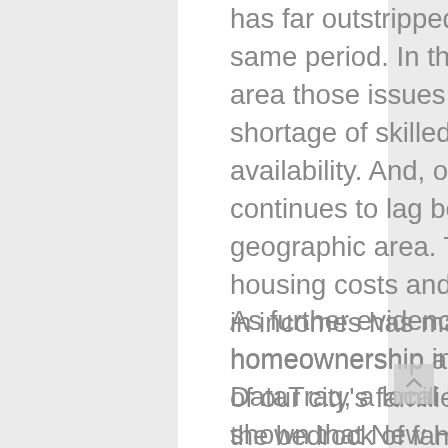has far outstripped the rise in salaries during the same period. In the Albuquerque metropolitan area those issues have been exacerbated by a shortage of skilled labor and developed lot availability. And, of course, our local economy continues to lag behind many cities in our geographic area. The gap between rapidly rising housing costs and much more modest increases in incomes has made the prospect of homeownership an unattainable dream for many of our city's families, yet homeownership remains the bedrock of family stability and prosperity.
As further evidence of the significant decrease in homeownership in the Albuquerque area, DataTraq, a local housing statistics firm, has shown that New Home Permit Equilibrium over the